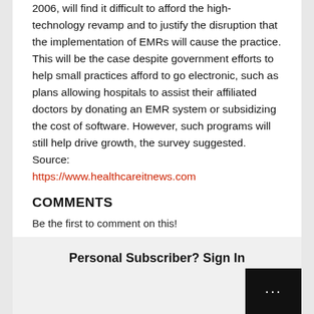2006, will find it difficult to afford the high-technology revamp and to justify the disruption that the implementation of EMRs will cause the practice. This will be the case despite government efforts to help small practices afford to go electronic, such as plans allowing hospitals to assist their affiliated doctors by donating an EMR system or subsidizing the cost of software. However, such programs will still help drive growth, the survey suggested. Source: https://www.healthcareitnews.com
COMMENTS
Be the first to comment on this!
Personal Subscriber? Sign In